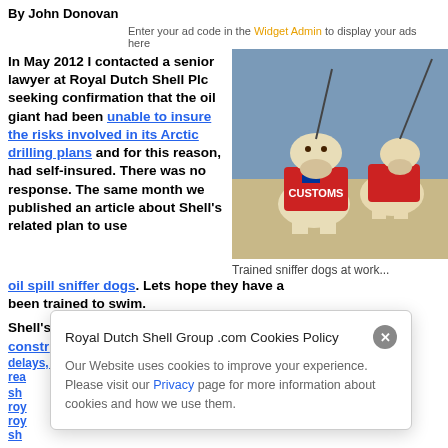By John Donovan
Enter your ad code in the Widget Admin to display your ads here
In May 2012 I contacted a senior lawyer at Royal Dutch Shell Plc seeking confirmation that the oil giant had been unable to insure the risks involved in its Arctic drilling plans and for this reason, had self-insured. There was no response. The same month we published an article about Shell's related plan to use oil spill sniffer dogs. Lets hope they have also been trained to swim.
[Figure (photo): Two Labrador dogs wearing red customs vests with flags, sniffer dogs at work]
Trained sniffer dogs at work...
Shell's rigs eventually arrived in the Arctic after being beset by construction delays, permit problems and stubborn sea ice...
royaldutchshellplc.com ... royaldutchshell.website.com ... royaldutchs... and sh...
Royal Dutch Shell Group .com Cookies Policy
Our Website uses cookies to improve your experience. Please visit our Privacy page for more information about cookies and how we use them.